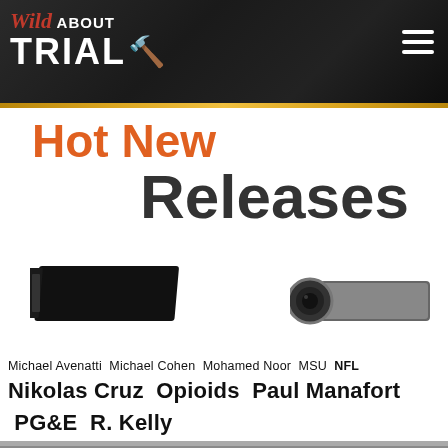[Figure (logo): Wild About Trial website header logo with gavel icon on dark textured background with hamburger menu icon]
[Figure (photo): Hot New Releases banner with PS4-style gaming console and camera device images]
Michael Avenatti Michael Cohen Mohamed Noor MSU NFL Nikolas Cruz Opioids Paul Manafort PG&E R. Kelly Robert Mueller Sexual Abuse Shooting Sports Stormy Daniels Supreme Court Trump
WILD ABOUT TRIAL
This website was born out of my love for criminal tri... like millions of other trial enthusiasts out there, am...